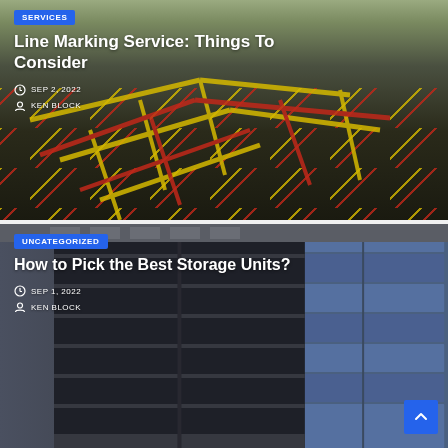[Figure (photo): Aerial view of a warehouse floor with yellow and red line markings on dark pavement, with red safety barriers visible on the right side]
SERVICES
Line Marking Service: Things To Consider
SEP 2, 2022
KEN BLOCK
[Figure (photo): Shipping containers - open container door in center foreground showing dark interior, stacked blue containers on the right side, light blue sky visible]
UNCATEGORIZED
How to Pick the Best Storage Units?
SEP 1, 2022
KEN BLOCK